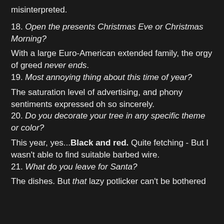misinterpreted.
18. Open the presents Christmas Eve or Christmas Morning?
With a large Euro-American extended family, the orgy of greed never ends.
19. Most annoying thing about this time of year?
The saturation level of advertising, and phony sentiments expressed oh so sincerely.
20. Do you decorate your tree in any specific theme or color?
This year, yes...Black and red. Quite fetching - But I wasn't able to find suitable barbed wire.
21. What do you leave for Santa?
The dishes. But that lazy potlicker can't be bothered